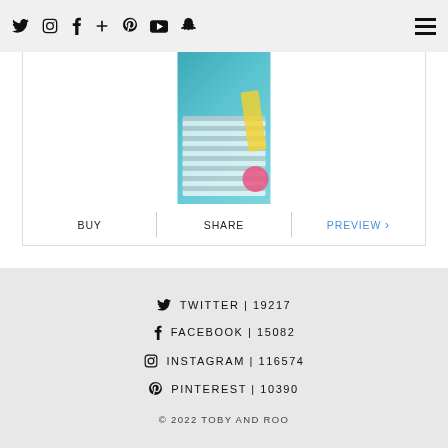Social media nav bar with Twitter, Instagram, Facebook, Google+, Pinterest, YouTube, Snapchat icons and hamburger menu
[Figure (photo): Book cover photo: child holding a jar, colorful background, partially visible]
BUY | SHARE | PREVIEW >
TWITTER | 19217
FACEBOOK | 15082
INSTAGRAM | 116574
PINTEREST | 10390
© 2022 TOBY AND ROO